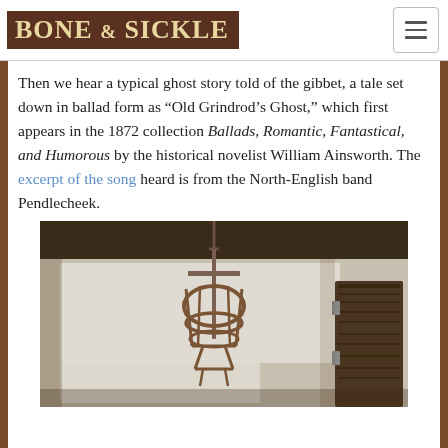BONE & SICKLE
Then we hear a typical ghost story told of the gibbet, a tale set down in ballad form as “Old Grindrod’s Ghost,” which first appears in the 1872 collection Ballads, Romantic, Fantastical, and Humorous by the historical novelist William Ainsworth. The excerpt of the song heard is from the North-English band Pendlecheek.
[Figure (photo): A metal gibbet cage (iron body cage used for displaying executed criminals) hanging from a wooden beam in a whitewashed room, with a wooden door visible on the right side.]